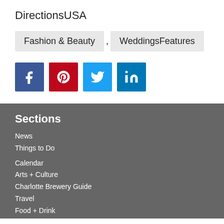DirectionsUSA
Fashion & Beauty , WeddingsFeatures
[Figure (infographic): Four social media share buttons: Facebook (blue), Pinterest (red), Twitter (light blue), LinkedIn (dark blue)]
Sections
News
Things to Do
Calendar
Arts + Culture
Charlotte Brewery Guide
Travel
Food + Drink
50 Best Restaurants in Charlotte: 2021
2021 BOB Awards